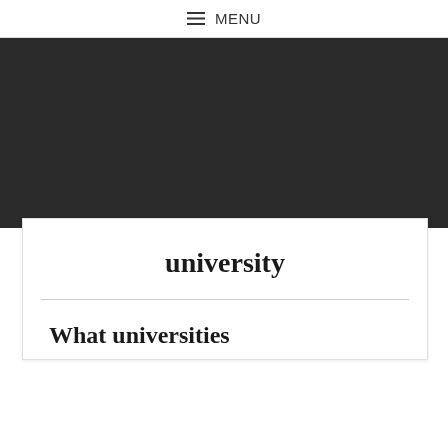≡ MENU
[Figure (other): Dark banner/hero image area with black background]
university
What universities